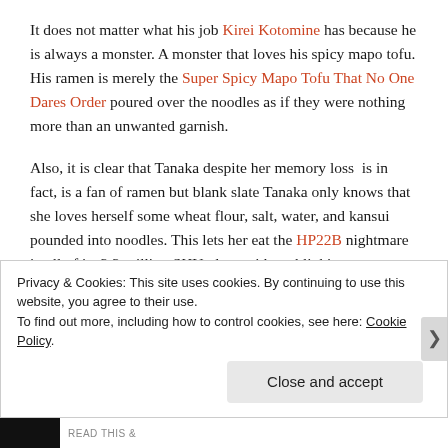It does not matter what his job Kirei Kotomine has because he is always a monster. A monster that loves his spicy mapo tofu. His ramen is merely the Super Spicy Mapo Tofu That No One Dares Order poured over the noodles as if they were nothing more than an unwanted garnish.
Also, it is clear that Tanaka despite her memory loss is in fact, is a fan of ramen but blank slate Tanaka only knows that she loves herself some wheat flour, salt, water, and kansui pounded into noodles. This lets her eat the HP22B nightmare in all of its 2.2 million SHU glory without blinking.
The clearest difference between Fate/Stay Night Illya and
Privacy & Cookies: This site uses cookies. By continuing to use this website, you agree to their use.
To find out more, including how to control cookies, see here: Cookie Policy